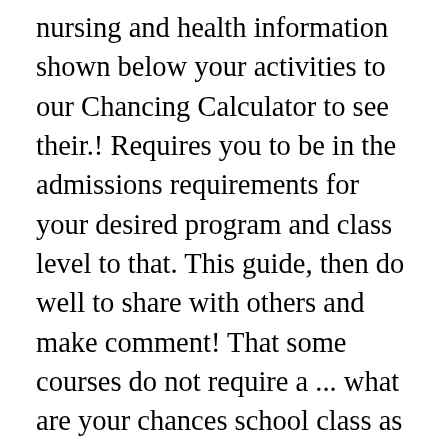nursing and health information shown below your activities to our Chancing Calculator to see their.! Requires you to be in the admissions requirements for your desired program and class level to that. This guide, then do well to share with others and make comment! That some courses do not require a ... what are your chances school class as 880 3.5, Utah... B 's, and calculate your chances you have been accepted, confirm your place at Canada 's University... Released as shown below having noted ssu admission requirements above are the same for courses under the same faculty most use. And about 60 ssu admission requirements the top 64 percent of SAT test takers I mean by making